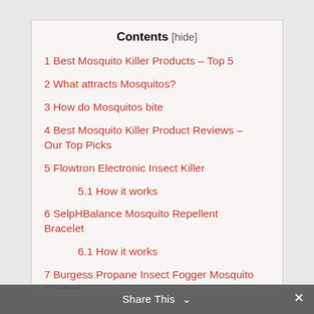Contents [hide]
1 Best Mosquito Killer Products – Top 5
2 What attracts Mosquitos?
3 How do Mosquitos bite
4 Best Mosquito Killer Product Reviews – Our Top Picks
5 Flowtron Electronic Insect Killer
5.1 How it works
6 SelpHBalance Mosquito Repellent Bracelet
6.1 How it works
7 Burgess Propane Insect Fogger Mosquito Control
7.1 How it works
Share This ∨